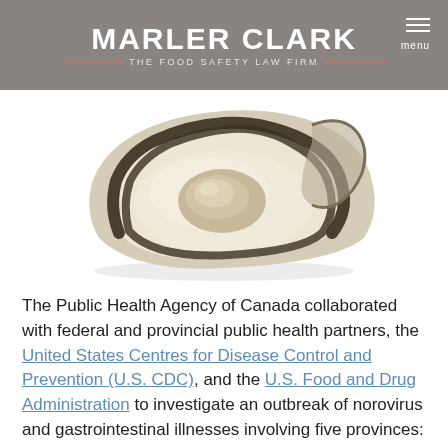MARLER CLARK — THE FOOD SAFETY LAW FIRM
[Figure (photo): An open oyster shell on a white background, showing the oyster meat inside the shell.]
The Public Health Agency of Canada collaborated with federal and provincial public health partners, the United States Centres for Disease Control and Prevention (U.S. CDC), and the U.S. Food and Drug Administration to investigate an outbreak of norovirus and gastrointestinal illnesses involving five provinces: